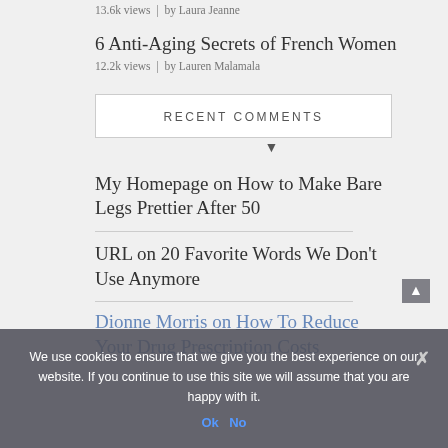13.6k views  |  by Laura Jeanne
6 Anti-Aging Secrets of French Women
12.2k views  |  by Lauren Malamala
RECENT COMMENTS
My Homepage on How to Make Bare Legs Prettier After 50
URL on 20 Favorite Words We Don't Use Anymore
Dionne Morris on How To Reduce Your Drug Prescription Costs
We use cookies to ensure that we give you the best experience on our website. If you continue to use this site we will assume that you are happy with it.
Ok  No